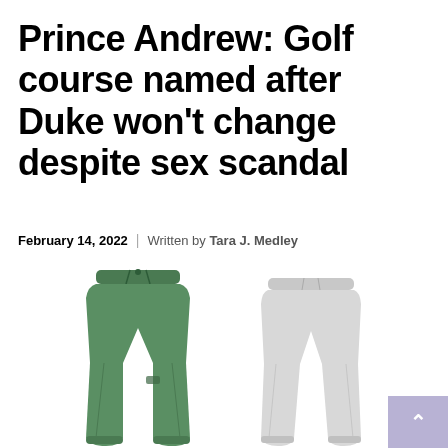Prince Andrew: Golf course named after Duke won't change despite sex scandal
February 14, 2022 | Written by Tara J. Medley
[Figure (photo): Two pairs of jogger pants side by side: a green pair on the left and a light grey pair on the right, both shown on white background]